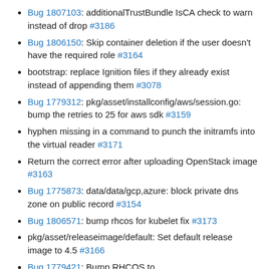Bug 1807103: additionalTrustBundle IsCA check to warn instead of drop #3186
Bug 1806150: Skip container deletion if the user doesn't have the required role #3164
bootstrap: replace Ignition files if they already exist instead of appending them #3078
Bug 1779312: pkg/asset/installconfig/aws/session.go: bump the retries to 25 for aws sdk #3159
hyphen missing in a command to punch the initramfs into the virtual reader #3171
Return the correct error after uploading OpenStack image #3163
Bug 1775873: data/data/gcp,azure: block private dns zone on public record #3154
Bug 1806571: bump rhcos for kubelet fix #3173
pkg/asset/releaseimage/default: Set default release image to 4.5 #3166
Bug 1779421: Bump RHCOS to